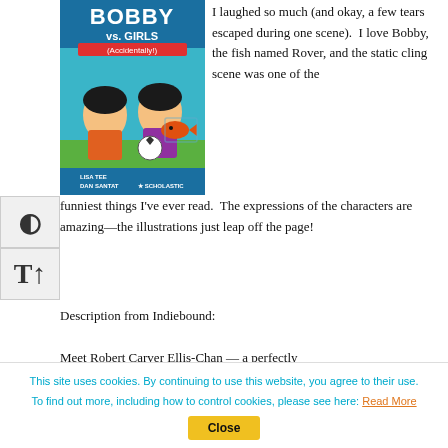[Figure (illustration): Book cover of 'Bobby vs. Girls (Accidentally)' showing cartoon characters — a boy and a girl — with a fish and a soccer ball, published by Scholastic. Authors: Lisa Tee and Dan Santat.]
I laughed so much (and okay, a few tears escaped during one scene).  I love Bobby, the fish named Rover, and the static cling scene was one of the funniest things I've ever read.  The expressions of the characters are amazing—the illustrations just leap off the page!
Description from Indiebound:
Meet Robert Carver Ellis-Chan — a perfectly
This site uses cookies. By continuing to use this website, you agree to their use.
To find out more, including how to control cookies, please see here: Read More
Close